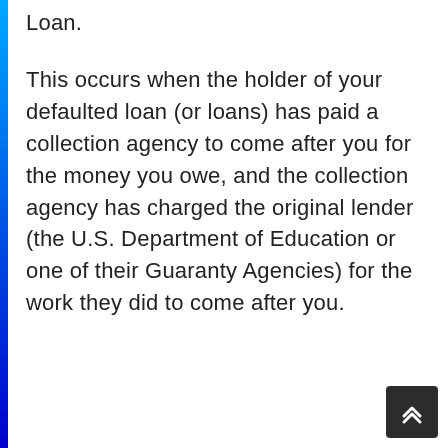Loan.
This occurs when the holder of your defaulted loan (or loans) has paid a collection agency to come after you for the money you owe, and the collection agency has charged the original lender (the U.S. Department of Education or one of their Guaranty Agencies) for the work they did to come after you.